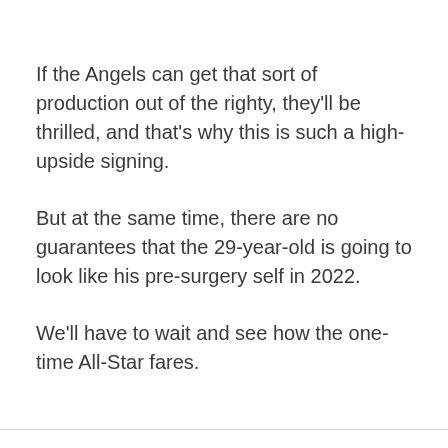If the Angels can get that sort of production out of the righty, they'll be thrilled, and that's why this is such a high-upside signing.
But at the same time, there are no guarantees that the 29-year-old is going to look like his pre-surgery self in 2022.
We'll have to wait and see how the one-time All-Star fares.